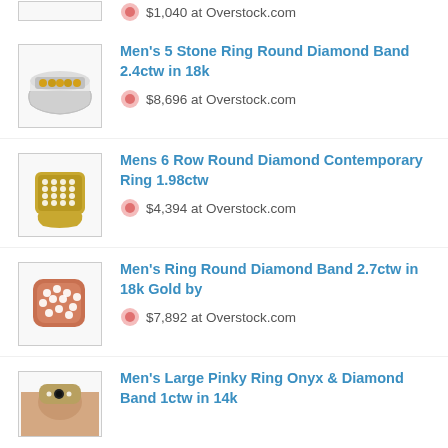$1,040 at Overstock.com
Men's 5 Stone Ring Round Diamond Band 2.4ctw in 18k
$8,696 at Overstock.com
Mens 6 Row Round Diamond Contemporary Ring 1.98ctw
$4,394 at Overstock.com
Men's Ring Round Diamond Band 2.7ctw in 18k Gold by
$7,892 at Overstock.com
Men's Large Pinky Ring Onyx & Diamond Band 1ctw in 14k